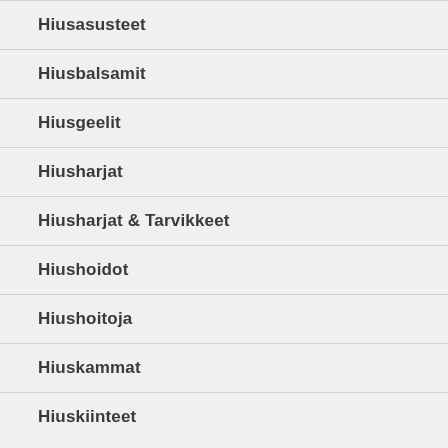Hiusasusteet
Hiusbalsamit
Hiusgeelit
Hiusharjat
Hiusharjat & Tarvikkeet
Hiushoidot
Hiushoitoja
Hiuskammat
Hiuskiinteet